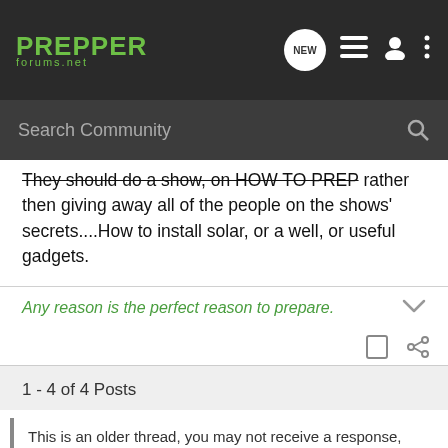PREPPER FORUMS.NET — navigation bar with search
They should do a show, on HOW TO PREP rather then giving away all of the people on the shows' secrets....How to install solar, or a well, or useful gadgets.
Any reason is the perfect reason to prepare.
1 - 4 of 4 Posts
This is an older thread, you may not receive a response, and could be reviving
[Figure (screenshot): Kel-Tec CP33 pistol advertisement banner: SEEKING LONG RANGE RELATIONSHIP, THE CP33 PISTOL]